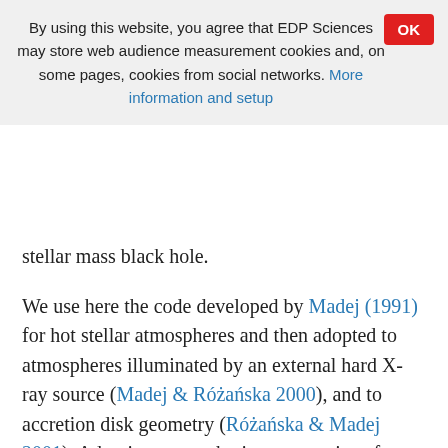By using this website, you agree that EDP Sciences may store web audience measurement cookies and, on some pages, cookies from social networks. More information and setup
stellar mass black hole.
We use here the code developed by Madej (1991) for hot stellar atmospheres and then adopted to atmospheres illuminated by an external hard X-ray source (Madej & Różańska 2000), and to accretion disk geometry (Różańska & Madej 2001). Adopting atmospheric computations for an accretion disk, we solve the vertical structure and outgoing spectra for several neighboring rings in hydrostatic and radiative equilibrium. The final spectrum presented in a specific intensity scale for different aspect angles is integrated over radii and presented at the source frame. No kinematic special relativity effects are included in our model.